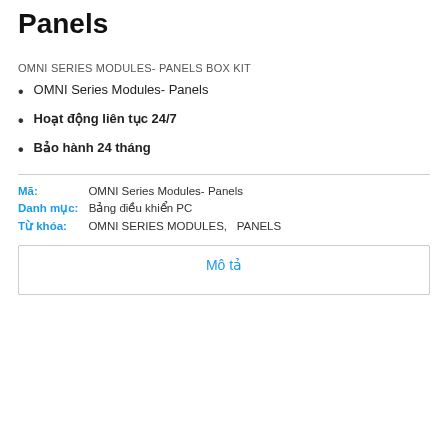Panels
OMNI SERIES MODULES- PANELS BOX KIT
OMNI Series Modules- Panels
Hoạt động liên tục 24/7
Bảo hành 24 tháng
Mã:   OMNI Series Modules- Panels
Danh mục:   Bảng điều khiển PC
Từ khóa:   OMNI SERIES MODULES,   PANELS
Mô tả